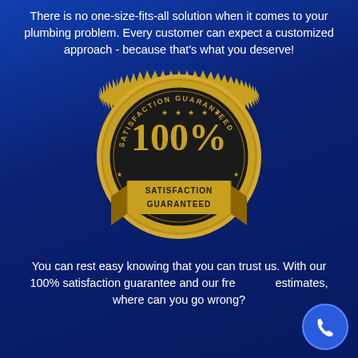There is no one-size-fits-all solution when it comes to your plumbing problem. Every customer can expect a customized approach - because that's what you deserve!
[Figure (illustration): Gold satisfaction guaranteed seal/badge with '100%' in large text and 'SATISFACTION GUARANTEED' on a ribbon banner, circular badge with sunburst edge, stars, and decorative border on dark center]
You can rest easy knowing that you can trust us. With our 100% satisfaction guarantee and our free estimates, where can you go wrong?